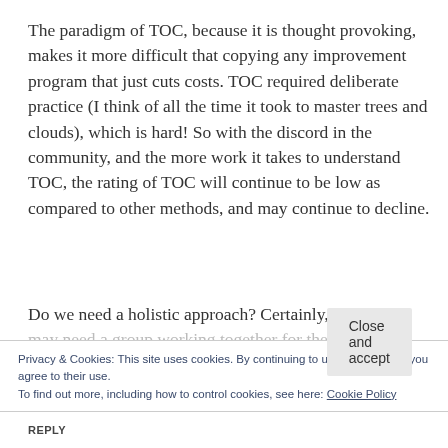The paradigm of TOC, because it is thought provoking, makes it more difficult that copying any improvement program that just cuts costs. TOC required deliberate practice (I think of all the time it took to master trees and clouds), which is hard! So with the discord in the community, and the more work it takes to understand TOC, the rating of TOC will continue to be low as compared to other methods, and may continue to decline.
Do we need a holistic approach? Certainly, but we may need a group working together for the good of
Privacy & Cookies: This site uses cookies. By continuing to use this website, you agree to their use.
To find out more, including how to control cookies, see here: Cookie Policy
Close and accept
REPLY